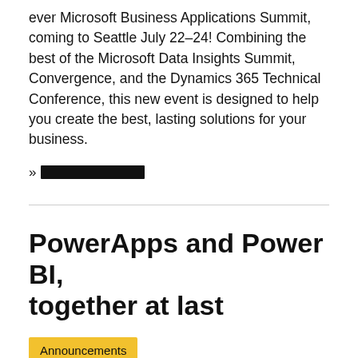ever Microsoft Business Applications Summit, coming to Seattle July 22–24! Combining the best of the Microsoft Data Insights Summit, Convergence, and the Dynamics 365 Technical Conference, this new event is designed to help you create the best, lasting solutions for your business.
» [redacted link]
PowerApps and Power BI, together at last
Announcements
28 [redacted], 2560 [redacted] Filip Karadzic